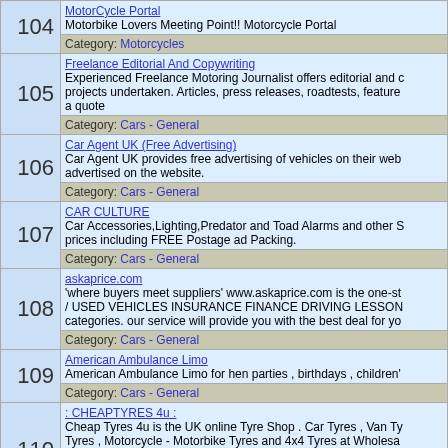| # | Listing |
| --- | --- |
| 104 | MotorCycle Portal
Motorbike Lovers Meeting Point!! Motorcycle Portal
Category: Motorcycles |
| 105 | Freelance Editorial And Copywriting
Experienced Freelance Motoring Journalist offers editorial and c... projects undertaken. Articles, press releases, roadtests, feature... a quote
Category: Cars - General |
| 106 | Car Agent UK (Free Advertising)
Car Agent UK provides free advertising of vehicles on their web... advertised on the website.
Category: Cars - General |
| 107 | CAR CULTURE
Car Accessories,Lighting,Predator and Toad Alarms and other S... prices including FREE Postage ad Packing.
Category: Cars - General |
| 108 | askaprice.com
'where buyers meet suppliers' www.askaprice.com is the one-st... / USED VEHICLES INSURANCE FINANCE DRIVING LESSON... categories. our service will provide you with the best deal for yo...
Category: Cars - General |
| 109 | American Ambulance Limo
American Ambulance Limo for hen parties , birthdays , children'...
Category: Cars - General |
| 110 | : CHEAPTYRES 4u :
Cheap Tyres 4u is the UK online Tyre Shop . Car Tyres , Van Ty... Tyres , Motorcycle - Motorbike Tyres and 4x4 Tyres at Wholesa... .Leading Makes and Budget Tyres , makes Cheap Tyres 4 u yo... supplied at up to 50% discounts we are Cheap Tyres in name a...
Category: Cars - General |
| 111 | ford escort rs turbo series II
England herts - modified rs, 2L 16v Corsa plus many more ..Pl... |